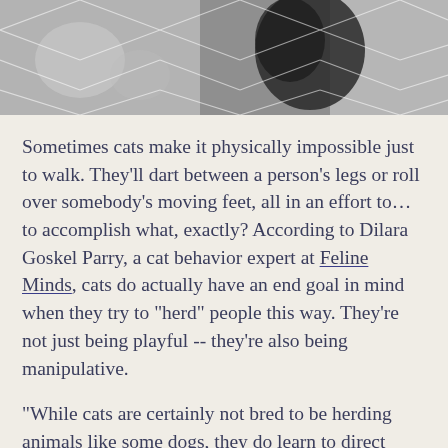[Figure (photo): Black and white photograph of a cat, partially visible, with geometric hexagonal or diamond-shaped overlay pattern on the image.]
Sometimes cats make it physically impossible just to walk. They'll dart between a person's legs or roll over somebody's moving feet, all in an effort to… to accomplish what, exactly? According to Dilara Goskel Parry, a cat behavior expert at Feline Minds, cats do actually have an end goal in mind when they try to "herd" people this way. They're not just being playful -- they're also being manipulative.
"While cats are certainly not bred to be herding animals like some dogs, they do learn to direct human behavior -- and motion -- when their